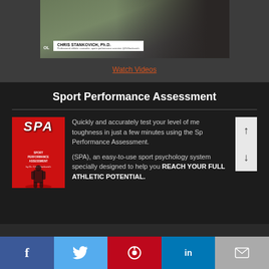[Figure (screenshot): Video thumbnail showing Chris Stankovich Ph.D., Professional athletic counselor, sports performance scientist, @DrStankovich on a TV interview]
Watch Videos
Sport Performance Assessment
[Figure (photo): SPA Sport Performance Assessment book cover with red background and silhouette]
Quickly and accurately test your level of mental toughness in just a few minutes using the Sport Performance Assessment.
(SPA), an easy-to-use sport psychology system specially designed to help you REACH YOUR FULL ATHLETIC POTENTIAL.